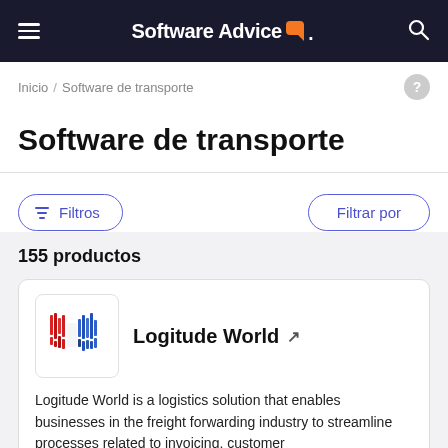Software Advice
Inicio / Software de transporte
Software de transporte
Filtros   Filtrar por
155 productos
Logitude World
Logitude World is a logistics solution that enables businesses in the freight forwarding industry to streamline processes related to invoicing, customer...